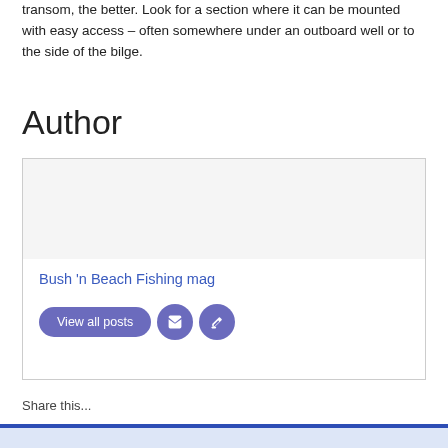transom, the better. Look for a section where it can be mounted with easy access – often somewhere under an outboard well or to the side of the bilge.
Author
[Figure (other): Author box with avatar area, author name 'Bush 'n Beach Fishing mag' as blue link, and three purple buttons: 'View all posts', email icon, and link icon]
Share this...